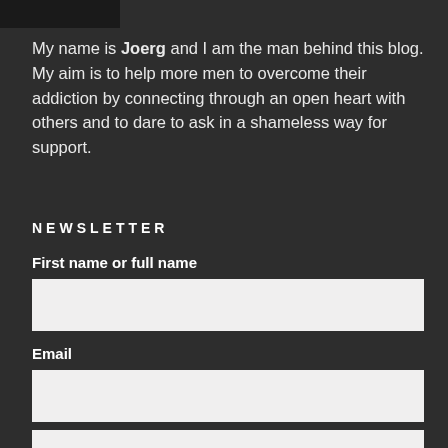[Figure (photo): Partial image of a person visible at the top left corner of the page]
My name is Joerg and I am the man behind this blog. My aim is to help more men to overcome their addiction by connecting through an open heart with others and to dare to ask in a shameless way for support.
NEWSLETTER
First name or full name
Email